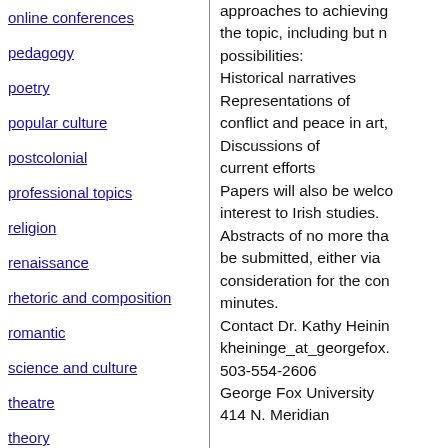online conferences
pedagogy
poetry
popular culture
postcolonial
professional topics
religion
renaissance
rhetoric and composition
romantic
science and culture
theatre
theory
translation studies
approaches to achieving the topic, including but not limited to these possibilities: Historical narratives Representations of conflict and peace in art, Discussions of current efforts Papers will also be welcomed on topics of interest to Irish studies. Abstracts of no more than 250 words should be submitted, either via email or mail, for consideration for the conference. Papers: 20 minutes. Contact Dr. Kathy Heininge at kheininge_at_georgefox. 503-554-2606 George Fox University 414 N. Meridian